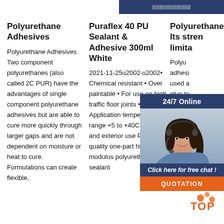[Figure (other): Dark blue top bar with white text showing a product image label]
Polyurethane Adhesives
Polyurethane Adhesives Two component polyurethanes (also called 2C PUR) have the advantages of single component polyurethane adhesives but are able to cure more quickly through larger gaps and are not dependent on moisture or heat to cure. Formulations can create flexible,
Puraflex 40 PU Sealant & Adhesive 300ml White
2021-11-25u2002·u2002• Chemical resistant • Over paintable • For use on high traffic floor joints • Application temperature range +5 to +40C • Interior and exterior use Premium quality one-part high modulus polyurethane sealant
Polyurethane glue: Its strengths and limitations
Polyurethane adhesives are used as a glue to bond components in plastics. Polyurethane can be made into an expanding foam for insulation and the sealing of cracks. Most polyurethane adhesives are highly
[Figure (photo): 24/7 Online chat widget with woman wearing headset, Click here for free chat button, and QUOTATION button in orange]